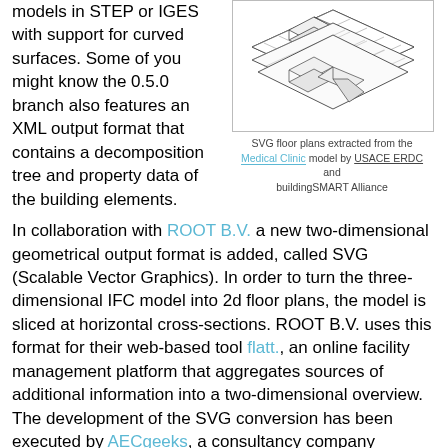models in STEP or IGES with support for curved surfaces. Some of you might know the 0.5.0 branch also features an XML output format that contains a decomposition tree and property data of the building elements.
[Figure (illustration): Isometric/axonometric line drawing of SVG floor plans extracted from a building model, showing multiple floor levels with room outlines and a grid pattern.]
SVG floor plans extracted from the Medical Clinic model by USACE ERDC and buildingSMART Alliance
In collaboration with ROOT B.V. a new two-dimensional geometrical output format is added, called SVG (Scalable Vector Graphics). In order to turn the three-dimensional IFC model into 2d floor plans, the model is sliced at horizontal cross-sections. ROOT B.V. uses this format for their web-based tool flatt., an online facility management platform that aggregates sources of additional information into a two-dimensional overview. The development of the SVG conversion has been executed by AECgeeks, a consultancy company founded by one of the main contributors to IfcOpenShell. Both companies are strongly committed to free open source software, so we are happy to see that these developments are merged back into IfcOpenShell for the